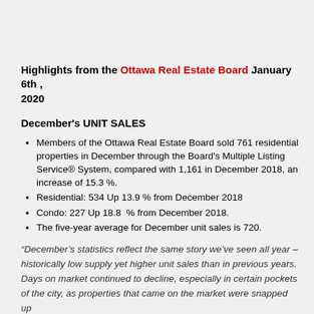Highlights from the Ottawa Real Estate Board January 6th , 2020
December's UNIT SALES
Members of the Ottawa Real Estate Board sold 761 residential properties in December through the Board's Multiple Listing Service® System, compared with 1,161 in December 2018, an increase of 15.3 %.
Residential: 534 Up 13.9 % from December 2018
Condo: 227 Up 18.8  % from December 2018.
The five-year average for December unit sales is 720.
“December’s statistics reflect the same story we’ve seen all year – historically low supply yet higher unit sales than in previous years. Days on market continued to decline, especially in certain pockets of the city, as properties that came on the market were snapped up